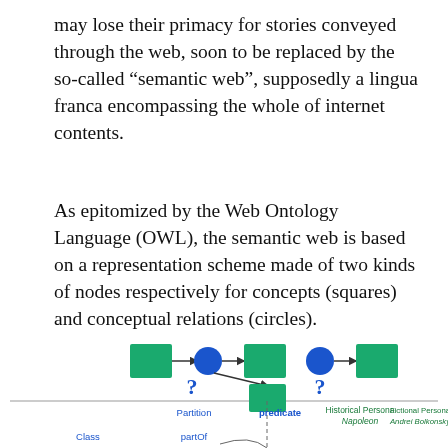may lose their primacy for stories conveyed through the web, soon to be replaced by the so-called “semantic web”, supposedly a lingua franca encompassing the whole of internet contents.
As epitomized by the Web Ontology Language (OWL), the semantic web is based on a representation scheme made of two kinds of nodes respectively for concepts (squares) and conceptual relations (circles).
[Figure (schematic): A diagram showing green squares (concepts) connected by blue circles (conceptual relations) with arrows. Two question marks indicate unknown nodes. Below a horizontal line, labels show Partition, predicate, Historical Persona Napoleon, Fictional Persona Andrei Bolkonsky, Class, partOf.]